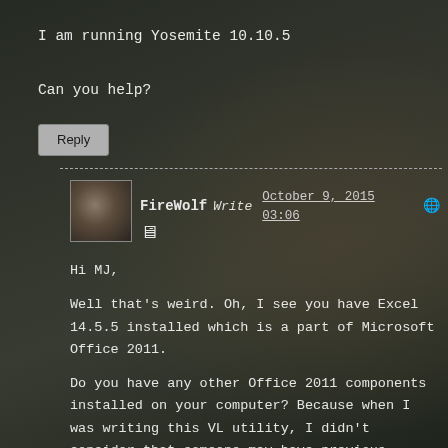I am running Yosemite 10.10.5
Can you help?
Reply
FireWolf Write   October 9, 2015 03:06
Hi MJ,
Well that’s weird. Oh, I see you have Excel 14.5.5 installed which is a part of Microsoft Office 2011.
Do you have any other Office 2011 components installed on your computer? Because when I was writing this VL utility, I didn’t consider that someone may have previous Office VL products installed on their computers.
And Word 15.13.5, Outlook 15.12.3...